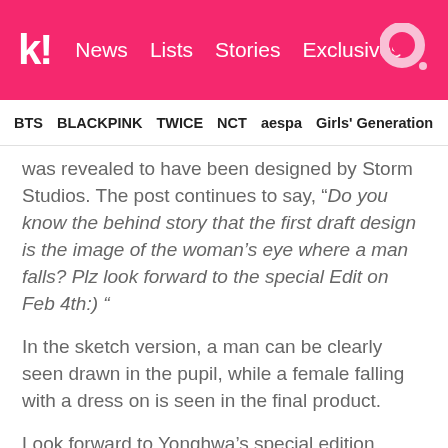k! News  Lists  Stories  Exclusives
BTS  BLACKPINK  TWICE  NCT  aespa  Girls' Generation
was revealed to have been designed by Storm Studios. The post continues to say, “Do you know the behind story that the first draft design is the image of the woman’s eye where a man falls? Plz look forward to the special Edit on Feb 4th:) “
In the sketch version, a man can be clearly seen drawn in the pupil, while a female falling with a dress on is seen in the final product.
Look forward to Yonghwa’s special edition release!